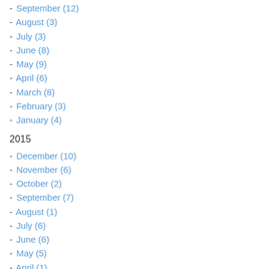- September (12)
- August (3)
- July (3)
- June (8)
- May (9)
- April (6)
- March (8)
- February (3)
- January (4)
2015
- December (10)
- November (6)
- October (2)
- September (7)
- August (1)
- July (6)
- June (6)
- May (5)
- April (1)
- March (7)
- February (4)
- January (5)